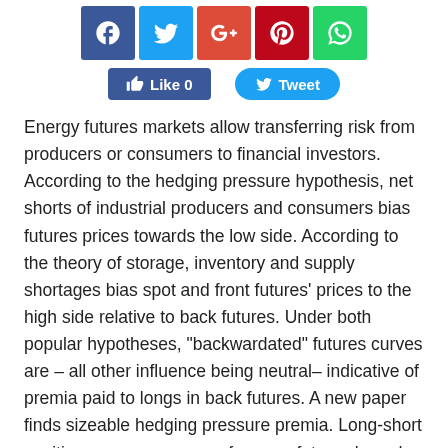[Figure (screenshot): Social media sharing buttons: Facebook, Twitter, Google+, Pinterest, WhatsApp icons in colored squares, plus Like and Tweet action buttons]
Energy futures markets allow transferring risk from producers or consumers to financial investors. According to the hedging pressure hypothesis, net shorts of industrial producers and consumers bias futures prices towards the low side. According to the theory of storage, inventory and supply shortages bias spot and front futures' prices to the high side relative to back futures. Under both popular hypotheses, "backwardated" futures curves are – all other influence being neutral– indicative of premia paid to longs in back futures. A new paper finds sizeable hedging pressure premia. Long-short positions across a range of energy futures based on hedging pressure and term structure factors seem to have produced significant returns. A promising approach is to integrate various factors into a single long-short portfolio across the spectrum of energy futures.